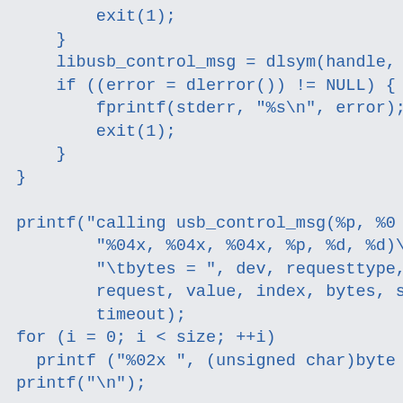exit(1);
    }
    libusb_control_msg = dlsym(handle, '
    if ((error = dlerror()) != NULL) {
        fprintf(stderr, "%s\n", error);
        exit(1);
    }
}

printf("calling usb_control_msg(%p, %0
        "%04x, %04x, %04x, %p, %d, %d)\
        "\tbytes = ", dev, requesttype,
        request, value, index, bytes, s
        timeout);
for (i = 0; i < size; ++i)
  printf ("%02x ", (unsigned char)byte
printf("\n");

ret = libusb_control_msg(dev, requestt